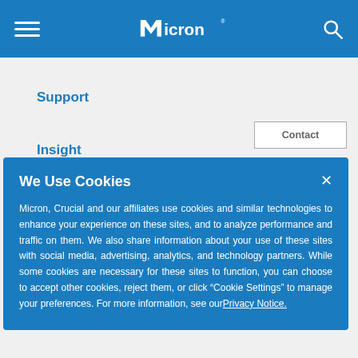Micron navigation bar with hamburger menu, Micron logo, and search icon
Support
Insight
About
Support (button)
Contact (button)
We Use Cookies
Micron, Crucial and our affiliates use cookies and similar technologies to enhance your experience on these sites, and to analyze performance and traffic on them. We also share information about your use of these sites with social media, advertising, analytics, and technology partners. While some cookies are necessary for these sites to function, you can choose to accept other cookies, reject them, or click "Cookie Settings" to manage your preferences. For more information, see our Privacy Notice.